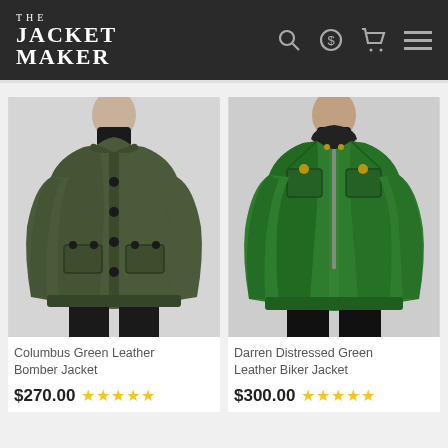THE JACKET MAKER
[Figure (photo): Man wearing Columbus Green Leather Bomber Jacket - olive/dark green leather jacket with button front and flap pockets]
[Figure (photo): Man wearing Darren Distressed Green Leather Biker Jacket - bright green glossy leather jacket with stand collar and chest pockets]
Columbus Green Leather Bomber Jacket
$270.00 ★★★★★
Darren Distressed Green Leather Biker Jacket
$300.00 ★★★★★